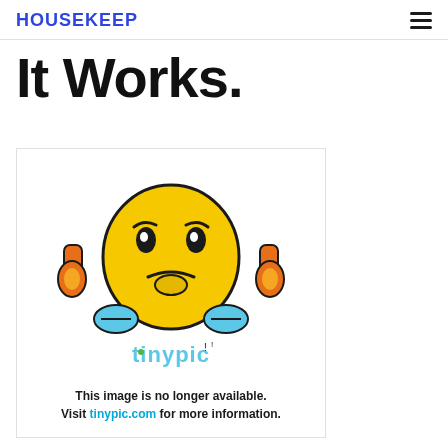HOUSEKEEP
It Works.
[Figure (illustration): Tinypic placeholder image showing a frustrated cartoon emoji character with orange headphones and blue hands, with the Tinypic logo and text: 'This image is no longer available. Visit tinypic.com for more information.']